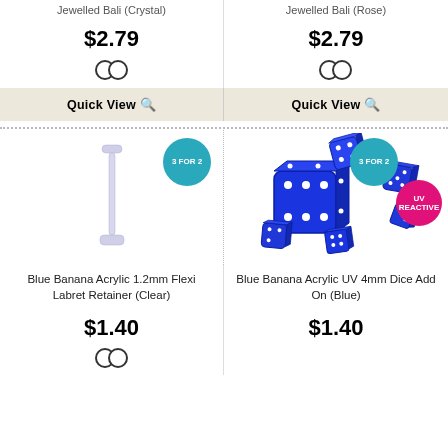Jewelled Bali (Crystal)
Jewelled Bali (Rose)
$2.79
$2.79
Quick View
Quick View
[Figure (photo): Clear/white acrylic labret retainer bar, straight, with flat disc ends]
3 FOR 2
[Figure (photo): Blue dice scattered, UV reactive, multiple dice in various orientations showing white dots]
3 FOR 2
UV REACTIVE
Blue Banana Acrylic 1.2mm Flexi Labret Retainer (Clear)
Blue Banana Acrylic UV 4mm Dice Add On (Blue)
$1.40
$1.40